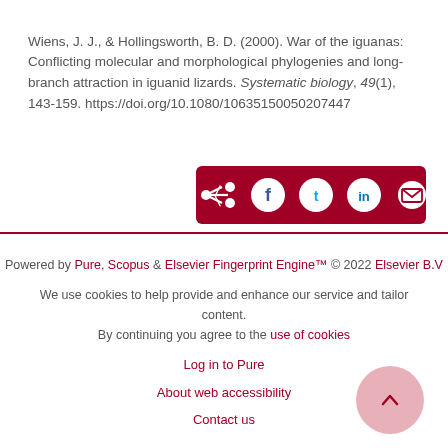Wiens, J. J., & Hollingsworth, B. D. (2000). War of the iguanas: Conflicting molecular and morphological phylogenies and long-branch attraction in iguanid lizards. Systematic biology, 49(1), 143-159. https://doi.org/10.1080/10635150050207447
[Figure (other): Dark red share bar with share arrow icon and four circular social sharing icons: Facebook, Twitter, LinkedIn, Email]
Powered by Pure, Scopus & Elsevier Fingerprint Engine™ © 2022 Elsevier B.V

We use cookies to help provide and enhance our service and tailor content. By continuing you agree to the use of cookies

Log in to Pure

About web accessibility

Contact us